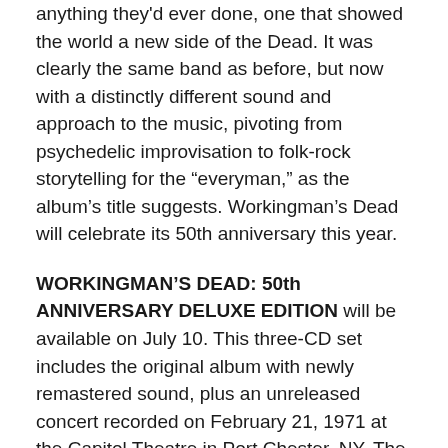anything they'd ever done, one that showed the world a new side of the Dead. It was clearly the same band as before, but now with a distinctly different sound and approach to the music, pivoting from psychedelic improvisation to folk-rock storytelling for the “everyman,” as the album’s title suggests. Workingman’s Dead will celebrate its 50th anniversary this year.
WORKINGMAN’S DEAD: 50th ANNIVERSARY DELUXE EDITION will be available on July 10. This three-CD set includes the original album with newly remastered sound, plus an unreleased concert recorded on February 21, 1971 at the Capitol Theatre in Port Chester, NY. The show was mixed from the 16-track analog